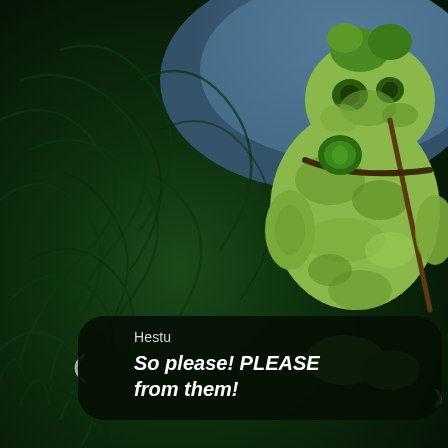[Figure (screenshot): Video game screenshot from The Legend of Zelda: Breath of the Wild showing Hestu, a large Korok character in camouflage green pattern, standing in a field of dark green grass with a river or water body visible in the upper background. A dialogue box at the bottom shows Hestu speaking.]
Hestu
So please! PLEASE from them!